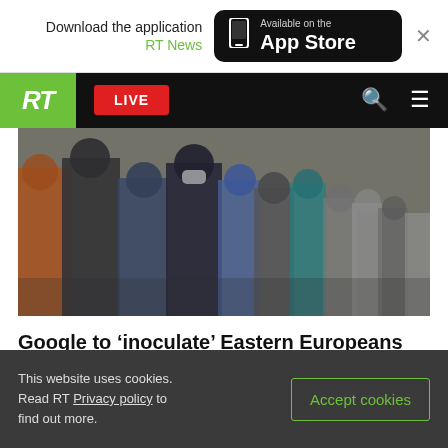Download the application RT News | Available on the App Store
[Figure (logo): RT news website navigation bar with green RT logo, red LIVE button, search and menu icons]
[Figure (photo): Group of people standing outdoors, some wearing masks, photographed from behind and sides]
Google to ‘inoculate’ Eastern Europeans against disinformation
Ukraine strikes chemical plant – DPR
This website uses cookies. Read RT Privacy policy to find out more.
Accept cookies